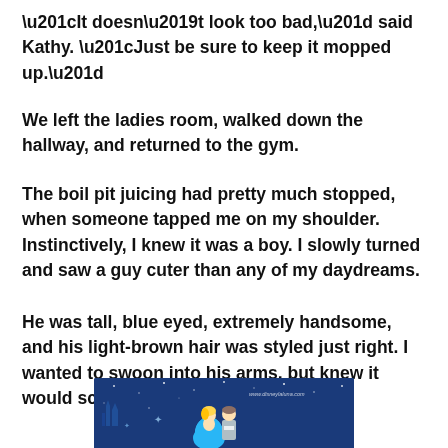“It doesn’t look too bad,” said Kathy. “Just be sure to keep it mopped up.”
We left the ladies room, walked down the hallway, and returned to the gym.
The boil pit juicing had pretty much stopped, when someone tapped me on my shoulder. Instinctively, I knew it was a boy. I slowly turned and saw a guy cuter than any of my daydreams.
He was tall, blue eyed, extremely handsome, and his light-brown hair was styled just right. I wanted to swoon into his arms, but knew it would scare him off.
[Figure (illustration): Cinderella and Prince Charming Disney illustration on a blue starry night background with a castle. Watermark reads www.disneylaluna.com]